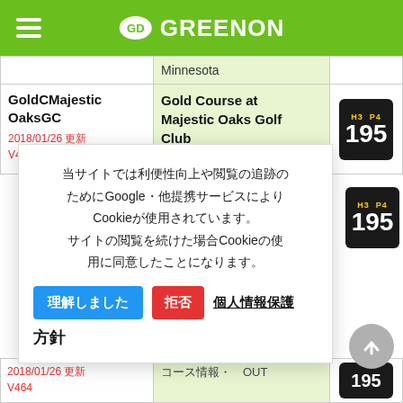GD GREENON
Minnesota
GoldCMajesticOaksGC
2018/01/26 更新
V464
Gold Course at Majestic Oaks Golf Club
コース情報・OUT
[Figure (other): Score badge showing H3 P4 195]
当サイトでは利便性向上や閲覧の追跡のためにGoogle・他提携サービスによりCookieが使用されています。サイトの閲覧を続けた場合Cookieの使用に同意したことになります。
理解しました　拒否　個人情報保護方針
[Figure (other): Score badge showing H3 P4 195]
2018/01/26 更新
V464
[Figure (other): Score badge showing 195]